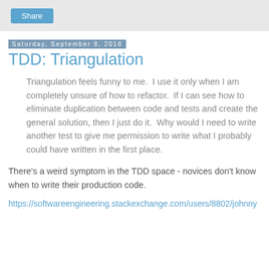Share
Saturday, September 8, 2018
TDD: Triangulation
Triangulation feels funny to me.  I use it only when I am completely unsure of how to refactor.  If I can see how to eliminate duplication between code and tests and create the general solution, then I just do it.  Why would I need to write another test to give me permission to write what I probably could have written in the first place.
There's a weird symptom in the TDD space - novices don't know when to write their production code.
https://softwareengineering.stackexchange.com/users/8802/johnny